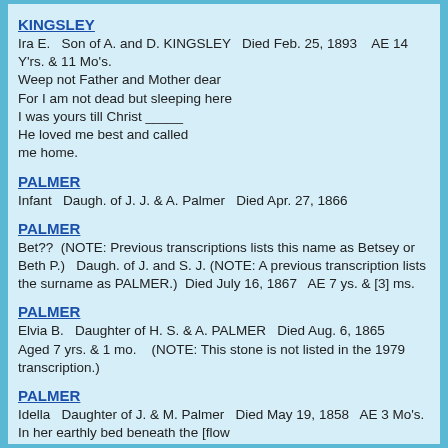KINGSLEY
Ira E.   Son of A. and D. KINGSLEY   Died Feb. 25, 1893    AE 14 Y'rs. & 11 Mo's.
Weep not Father and Mother dear
For I am not dead but sleeping here
I was yours till Christ _____
He loved me best and called
me home.
PALMER
Infant   Daugh. of J. J. & A. Palmer   Died Apr. 27, 1866
PALMER
Bet??  (NOTE: Previous transcriptions lists this name as Betsey or Beth P.)   Daugh. of J. and S. J. (NOTE: A previous transcription lists the surname as PALMER.)  Died July 16, 1867   AE 7 ys. & [3] ms.
PALMER
Elvia B.   Daughter of H. S. & A. PALMER   Died Aug. 6, 1865  Aged 7 yrs. & 1 mo.    (NOTE: This stone is not listed in the 1979 transcription.)
PALMER
Idella   Daughter of J. & M. Palmer   Died May 19, 1858   AE 3 Mo's.
In her earthly bed beneath the [flow
ers] our little darling lies. But
from heaven's blue Hear a voi
ce Tis hers it sweetly says "Rej-
oice. I am beyond the skies."